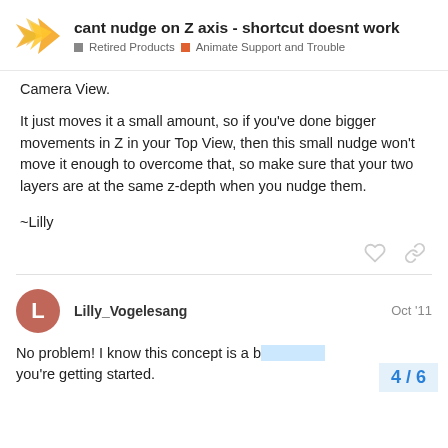cant nudge on Z axis - shortcut doesnt work | Retired Products > Animate Support and Trouble
Camera View.
It just moves it a small amount, so if you've done bigger movements in Z in your Top View, then this small nudge won't move it enough to overcome that, so make sure that your two layers are at the same z-depth when you nudge them.
~Lilly
Lilly_Vogelesang  Oct '11
No problem! I know this concept is a b... you're getting started.
4 / 6